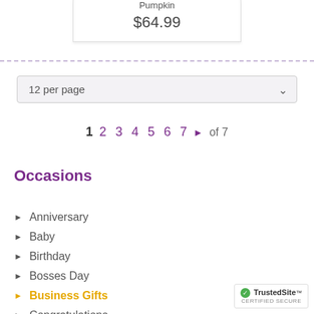Pumpkin
$64.99
12 per page
1  2  3  4  5  6  7  ▶  of 7
Occasions
Anniversary
Baby
Birthday
Bosses Day
Business Gifts
Congratulations